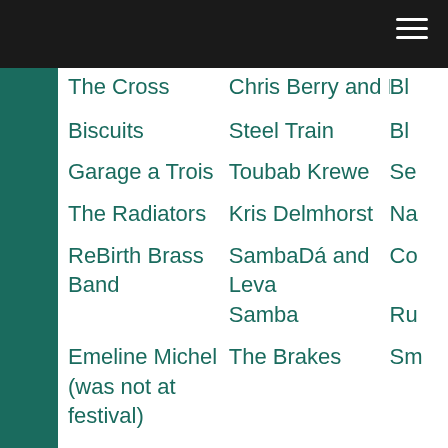Biscuits | Steel Train | Bl...
Garage a Trois | Toubab Krewe | Se...
The Radiators | Kris Delmhorst | Na...
ReBirth Brass Band | SambaDá and Leva Samba | Co... Ru...
Emeline Michel (was not at festival) | The Brakes | Sm...
| Apollo Sunshine | Ra...
| Scott Law Band | Du...
Peter Apfelbaum & the New York Hieroglyphics featuring | Jamie Janover | Fu... Ch... Th... Na...